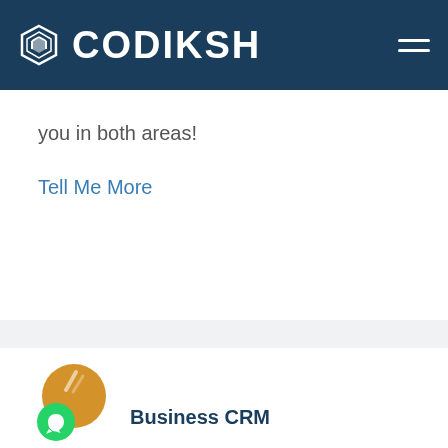CODIKSH
you in both areas!
Tell Me More
[Figure (illustration): Codiksh product icon: large golden/orange circle with a green WhatsApp logo circle overlapping at bottom-left]
Business CRM